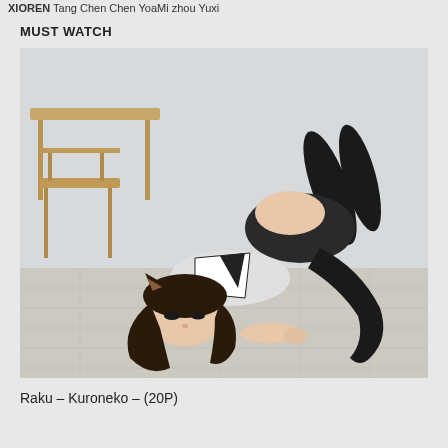XIOREN Tang Chen Chen YoaMi zhou Yuxi
MUST WATCH
[Figure (photo): A person in a black and white sailor-style school uniform with cat ears and tail accessories, lying on a light wood floor in an indoor setting that resembles a classroom with a desk and chair visible in the background.]
Raku – Kuroneko – (20P)